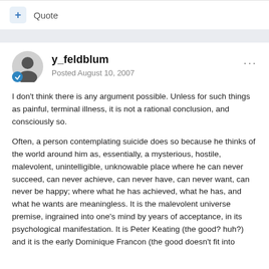+ Quote
y_feldblum
Posted August 10, 2007
I don't think there is any argument possible. Unless for such things as painful, terminal illness, it is not a rational conclusion, and consciously so.
Often, a person contemplating suicide does so because he thinks of the world around him as, essentially, a mysterious, hostile, malevolent, unintelligible, unknowable place where he can never succeed, can never achieve, can never have, can never want, can never be happy; where what he has achieved, what he has, and what he wants are meaningless. It is the malevolent universe premise, ingrained into one's mind by years of acceptance, in its psychological manifestation. It is Peter Keating (the good? huh?) and it is the early Dominique Francon (the good doesn't fit into